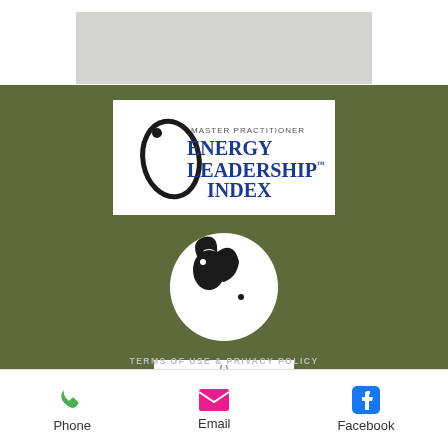[Figure (photo): Gray banner image placeholder at top]
[Figure (logo): Master Practitioner Energy Leadership Index logo in white box on olive green background]
[Figure (logo): Circular black and white yin-yang style horse logo]
[Figure (logo): Eagle headdress logo in white box]
[Figure (logo): iPEC Certified Professional Coach logo in white box]
TERMS OF USE & PRIVACY POLICY
Phone   Email   Facebook